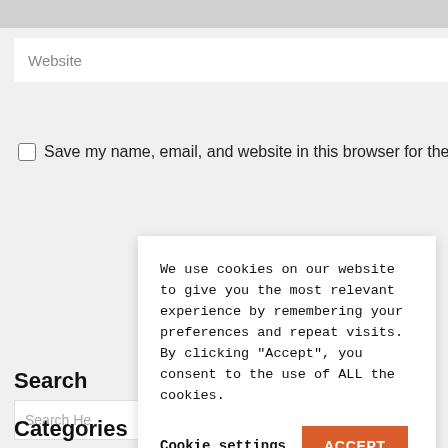Website
Save my name, email, and website in this browser for the next time
Search
Search Here
We use cookies on our website to give you the most relevant experience by remembering your preferences and repeat visits. By clicking “Accept”, you consent to the use of ALL the cookies.
Cookie settings
ACCEPT
Categories